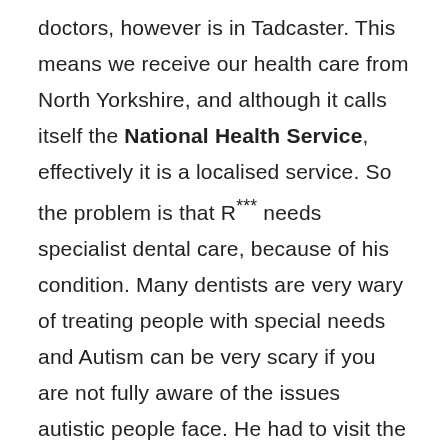doctors, however is in Tadcaster. This means we receive our health care from North Yorkshire, and although it calls itself the National Health Service, effectively it is a localised service. So the problem is that R*** needs specialist dental care, because of his condition. Many dentists are very wary of treating people with special needs and Autism can be very scary if you are not fully aware of the issues autistic people face. He had to visit the Community Dental Practice on Friday. They examined him, and found his teeth to be doing okay, but then they dropped the bombshell. They told us, that because of recent changes by Government, they were no longer 'allowed' to treat him in Leeds as it was out of the catchment area.